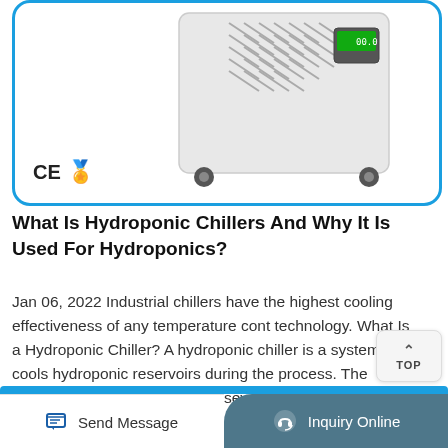[Figure (photo): A white industrial hydroponic water chiller unit on wheels with ventilation slots and a digital display panel, shown with CE certification mark and a gold shield/supplier badge in the lower left.]
What Is Hydroponic Chillers And Why It Is Used For Hydroponics?
Jan 06, 2022 Industrial chillers have the highest cooling effectiveness of any temperature control technology. What Is a Hydroponic Chiller? A hydroponic chiller is a system that cools hydroponic reservoirs during the process. The growth of your plants might be severely hampered by high water temperatures. The appropriate water temperature for hydroponics ...
Send Message
Inquiry Online